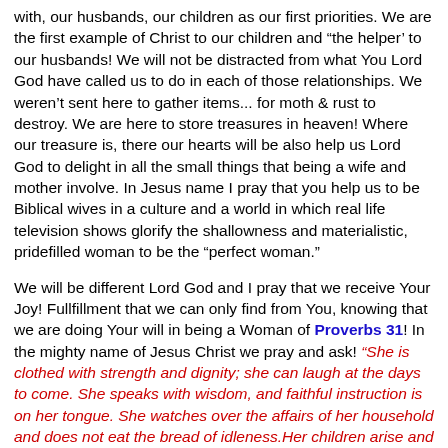with, our husbands, our children as our first priorities. We are the first example of Christ to our children and “the helper’ to our husbands! We will not be distracted from what You Lord God have called us to do in each of those relationships. We weren’t sent here to gather items... for moth & rust to destroy. We are here to store treasures in heaven! Where our treasure is, there our hearts will be also help us Lord God to delight in all the small things that being a wife and mother involve. In Jesus name I pray that you help us to be Biblical wives in a culture and a world in which real life television shows glorify the shallowness and materialistic, pridefilled woman to be the “perfect woman.”
We will be different Lord God and I pray that we receive Your Joy! Fullfillment that we can only find from You, knowing that we are doing Your will in being a Woman of Proverbs 31! In the mighty name of Jesus Christ we pray and ask! “She is clothed with strength and dignity; she can laugh at the days to come. She speaks with wisdom, and faithful instruction is on her tongue. She watches over the affairs of her household and does not eat the bread of idleness.Her children arise and call her blessed; her husband also, and